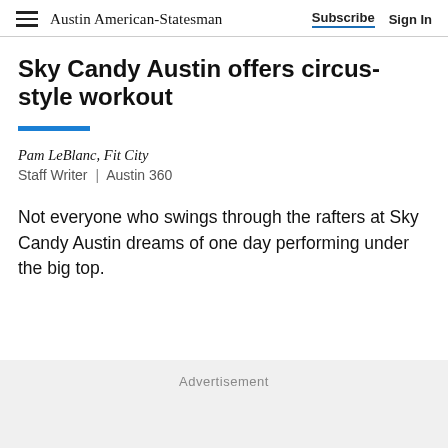Austin American-Statesman | Subscribe  Sign In
Sky Candy Austin offers circus-style workout
Pam LeBlanc, Fit City
Staff Writer | Austin 360
Not everyone who swings through the rafters at Sky Candy Austin dreams of one day performing under the big top.
Advertisement